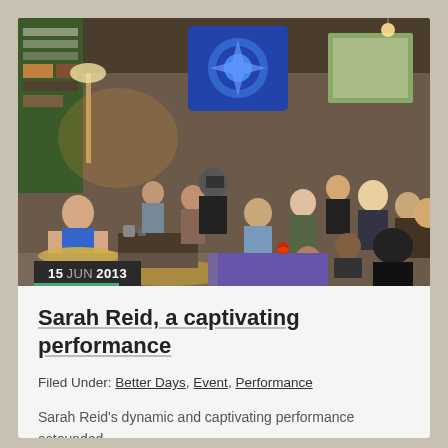[Figure (photo): Indoor group scene with many people gathered in a living-room style space. A performer is visible on the left (shaved head, blue sleeveless top) near percussion cymbals and equipment. Audience members are seated and standing, engaged and watching. Warm lighting, bookshelves, decorative textiles, and a blue mandala-like fabric visible in the background. Date badge '15 JUN 2013' overlaid in lower-left corner.]
Sarah Reid, a captivating performance
Filed Under: Better Days, Event, Performance
Sarah Reid's dynamic and captivating performance astounded